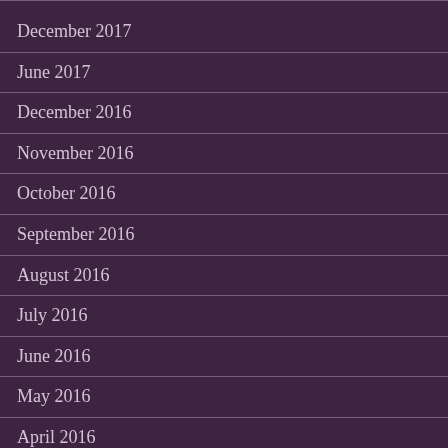December 2017
June 2017
December 2016
November 2016
October 2016
September 2016
August 2016
July 2016
June 2016
May 2016
April 2016
March 2016